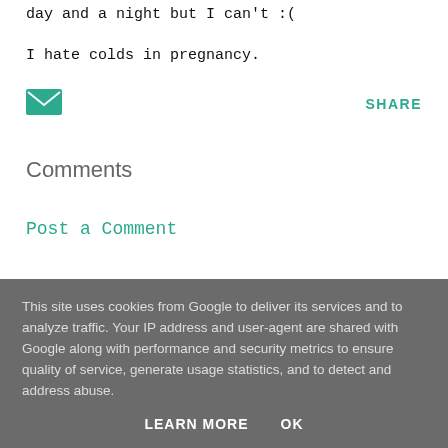day and a night but I can't :(
I hate colds in pregnancy.
[Figure (other): Email/envelope icon button (teal/green colored)]
SHARE
Comments
Post a Comment
This site uses cookies from Google to deliver its services and to analyze traffic. Your IP address and user-agent are shared with Google along with performance and security metrics to ensure quality of service, generate usage statistics, and to detect and address abuse.
LEARN MORE   OK